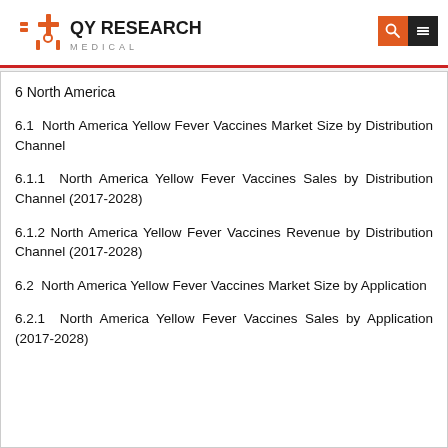QY RESEARCH MEDICAL
6 North America
6.1 North America Yellow Fever Vaccines Market Size by Distribution Channel
6.1.1 North America Yellow Fever Vaccines Sales by Distribution Channel (2017-2028)
6.1.2 North America Yellow Fever Vaccines Revenue by Distribution Channel (2017-2028)
6.2 North America Yellow Fever Vaccines Market Size by Application
6.2.1 North America Yellow Fever Vaccines Sales by Application (2017-2028)